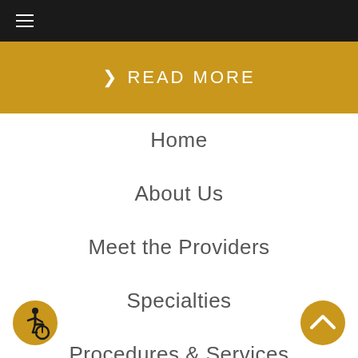≡
❯ READ MORE
Home
About Us
Meet the Providers
Specialties
Procedures & Services
Blog
[Figure (illustration): Wheelchair accessibility icon — circular gold border with black wheelchair user symbol]
[Figure (illustration): Scroll to top button — gold circle with white upward chevron arrow]